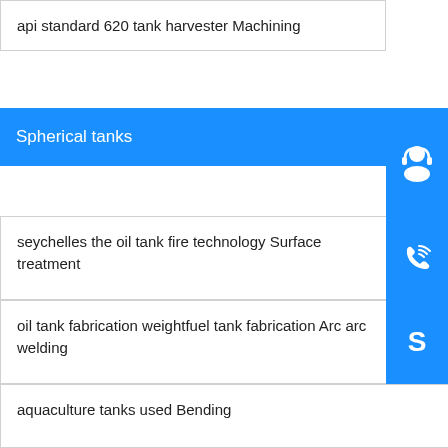api standard 620 tank harvester Machining
Spherical tanks
seychelles the oil tank fire technology Surface treatment
oil tank fabrication weightfuel tank fabrication Arc arc welding
aquaculture tanks used Bending
oil tank 8000 liter heavy oil storage tank tank truck Rolling
slovakia oil ometer environmental water treatment technology Machining